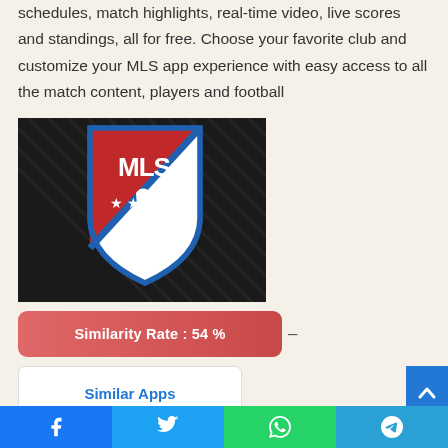schedules, match highlights, real-time video, live scores and standings, all for free. Choose your favorite club and customize your MLS app experience with easy access to all the match content, players and football
[Figure (logo): MLS (Major League Soccer) logo on dark diagonal-striped background. Shield shape divided diagonally: upper-left red section with white 'MLS' text and three stars, lower-right white section. Blue border outline.]
Similarity Rate : 54 %
–
Similar Apps
Facebook  Twitter  WhatsApp  Telegram